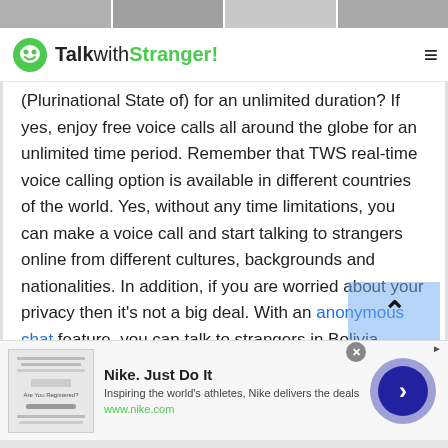[Figure (photo): Top photo strip showing cropped portrait images of people]
TalkwithStranger!
(Plurinational State of) for an unlimited duration? If yes, enjoy free voice calls all around the globe for an unlimited time period. Remember that TWS real-time voice calling option is available in different countries of the world. Yes, without any time limitations, you can make a voice call and start talking to strangers online from different cultures, backgrounds and nationalities. In addition, if you are worried about your privacy then it's not a big deal. With an anonymous chat feature, you can talk to strangers in Bolivia (Plurinational State of) with
[Figure (screenshot): Nike advertisement: Nike. Just Do It. Inspiring the world's athletes, Nike delivers the deals. www.nike.com]